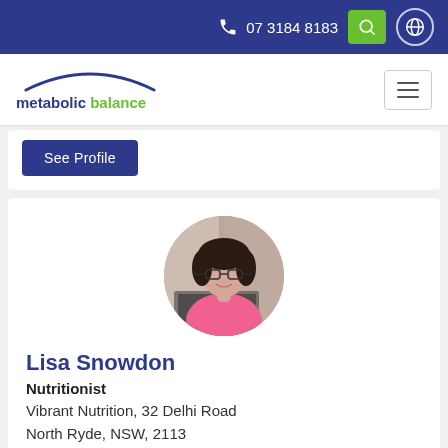07 3184 8183
[Figure (logo): Metabolic Balance logo with arc/swoosh above text reading 'metabolic balance']
See Profile
[Figure (photo): Circular profile photo of Lisa Snowdon, a woman with dark curly hair and glasses wearing a pink top, sitting at a laptop]
Lisa Snowdon
Nutritionist
Vibrant Nutrition, 32 Delhi Road
North Ryde, NSW, 2113
18.7 km